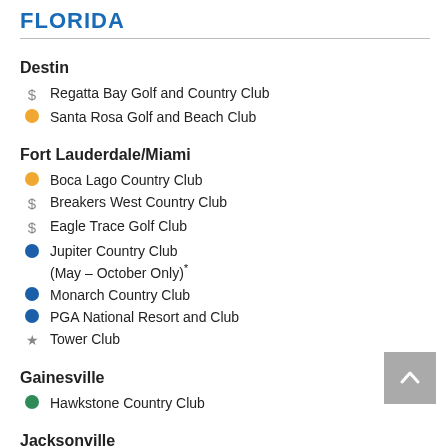FLORIDA
Destin
Regatta Bay Golf and Country Club
Santa Rosa Golf and Beach Club
Fort Lauderdale/Miami
Boca Lago Country Club
Breakers West Country Club
Eagle Trace Golf Club
Jupiter Country Club (May – October Only)*
Monarch Country Club
PGA National Resort and Club
Tower Club
Gainesville
Hawkstone Country Club
Jacksonville
Deercreak Country Club